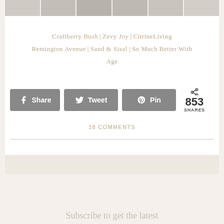[Figure (photo): Row of interior design / living room photos in a strip at top]
Craftberry Bush | Zevy Joy | CitrineLiving
Remington Avenue | Sand & Sisal | So Much Better With Age
[Figure (infographic): Social share buttons: Share, Tweet, Pin with 853 SHARES count]
18 COMMENTS
Subscribe to get the latest